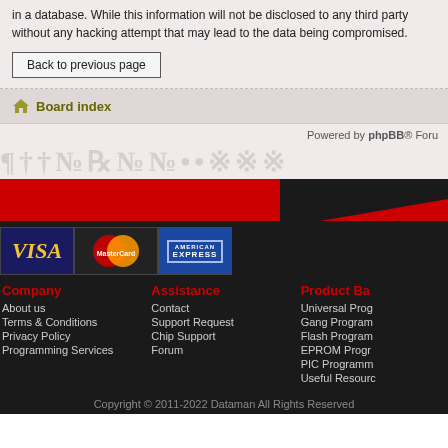in a database. While this information will not be disclosed to any third party without any hacking attempt that may lead to the data being compromised.
Back to previous page
Board index
Powered by phpBB® Foru
[Figure (illustration): Watermark text with faded company branding]
[Figure (illustration): Red and black diagonal divider band]
[Figure (illustration): Payment logos: VISA, MasterCard, American Express]
Company
About us
Terms & Conditions
Privacy Policy
Programming Services
Assistance
Contact
Support Request
Chip Support
Forum
Product Ba
Universal Prog
Gang Program
Flash Program
EPROM Progr
PIC Programm
Useful Resourc
Copyright © 2011-2022 Dataman All Rights Reserved